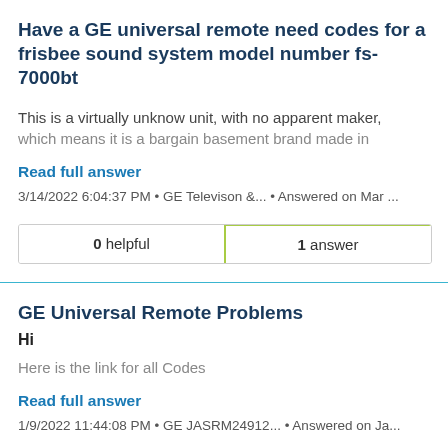Have a GE universal remote need codes for a frisbee sound system model number fs-7000bt
This is a virtually unknow unit, with no apparent maker, which means it is a bargain basement brand made in
Read full answer
3/14/2022 6:04:37 PM • GE Televison &... • Answered on Mar ...
| 0 helpful | 1 answer |
| --- | --- |
GE Universal Remote Problems
Hi
Here is the link for all Codes
Read full answer
1/9/2022 11:44:08 PM • GE JASRM24912... • Answered on Ja...
| 0 helpful | 2 answers |
| --- | --- |